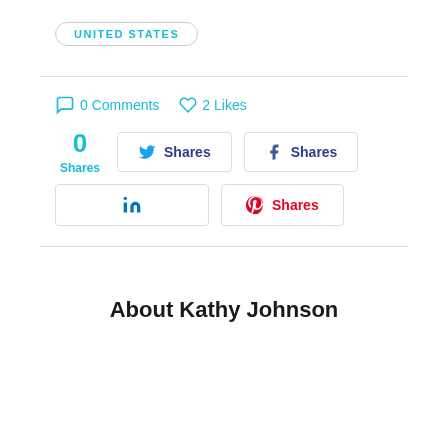UNITED STATES
0 Comments  2 Likes
0 Shares
Shares (Twitter)
Shares (Facebook)
LinkedIn
Shares (Pinterest)
About Kathy Johnson